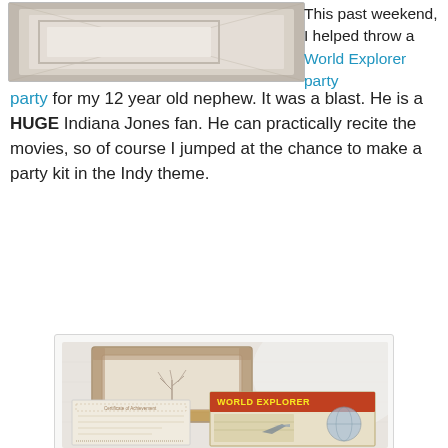[Figure (photo): Top partial photo of what appears to be a framed item or paper craft on a light background]
This past weekend, I helped throw a World Explorer party for my 12 year old nephew. It was a blast. He is a HUGE Indiana Jones fan. He can practically recite the movies, so of course I jumped at the chance to make a party kit in the Indy theme.
[Figure (photo): Photo showing World Explorer party kit items: a decorated picture frame, a certificate of achievement-style document, and a World Explorer magazine-style booklet, all laid out on a white fabric background]